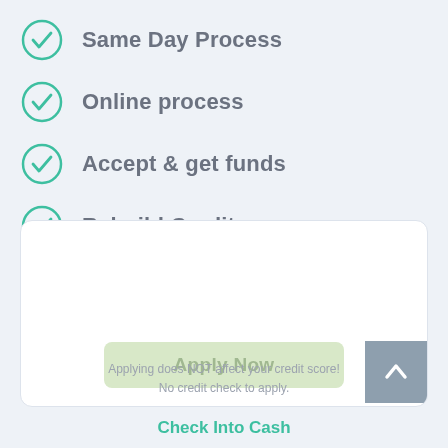Same Day Process
Online process
Accept & get funds
Rebuild Credit
[Figure (other): White rounded card widget with an Apply Now button in light green and a scroll-to-top arrow button on the right side]
Applying does NOT affect your credit score!
No credit check to apply.
Check Into Cash